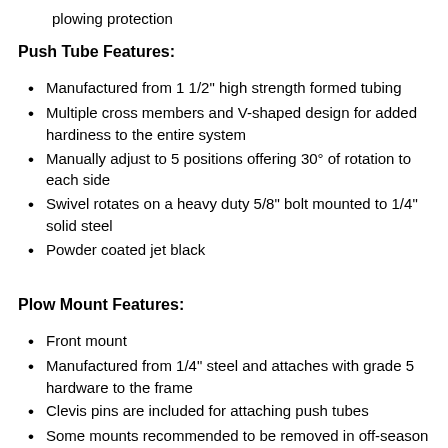plowing protection
Push Tube Features:
Manufactured from 1 1/2" high strength formed tubing
Multiple cross members and V-shaped design for added hardiness to the entire system
Manually adjust to 5 positions offering 30° of rotation to each side
Swivel rotates on a heavy duty 5/8" bolt mounted to 1/4" solid steel
Powder coated jet black
Plow Mount Features:
Front mount
Manufactured from 1/4" steel and attaches with grade 5 hardware to the frame
Clevis pins are included for attaching push tubes
Some mounts recommended to be removed in off-season to maintain ground clearance
Powder coated jet black